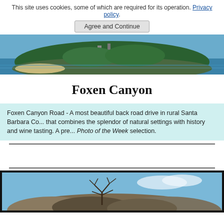This site uses cookies, some of which are required for its operation. Privacy policy. Agree and Continue
[Figure (photo): Header banner photo of a green island surrounded by blue ocean water]
Foxen Canyon
Foxen Canyon Road - A most beautiful back road drive in rural Santa Barbara Co... that combines the splendor of natural settings with history and wine tasting. A pre... Photo of the Week selection.
[Figure (photo): Bottom photo of rocky hillside with bare tree branches against blue sky, framed with black border]